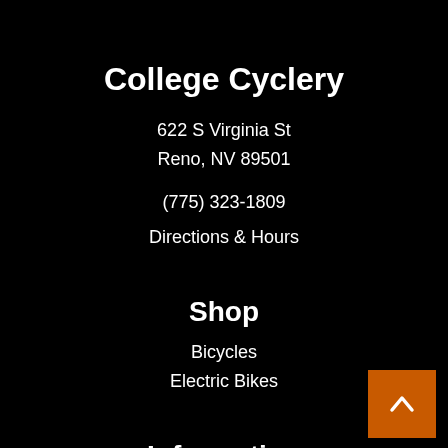College Cyclery
622 S Virginia St
Reno, NV 89501
(775) 323-1809
Directions & Hours
Shop
Bicycles
Electric Bikes
Information
About Us
Contact Us